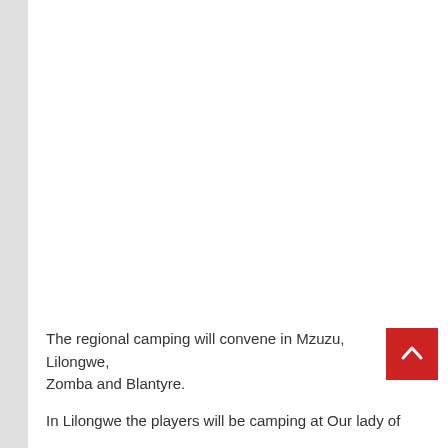The regional camping will convene in Mzuzu, Lilongwe, Zomba and Blantyre.
In Lilongwe the players will be camping at Our lady of